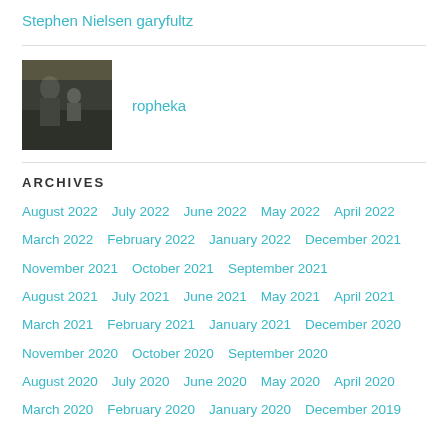Stephen Nielsen
garyfultz
[Figure (photo): Small avatar photo of a person outdoors, appears to show two people]
ropheka
ARCHIVES
August 2022  July 2022  June 2022  May 2022  April 2022  March 2022  February 2022  January 2022  December 2021  November 2021  October 2021  September 2021  August 2021  July 2021  June 2021  May 2021  April 2021  March 2021  February 2021  January 2021  December 2020  November 2020  October 2020  September 2020  August 2020  July 2020  June 2020  May 2020  April 2020  March 2020  February 2020  January 2020  December 2019